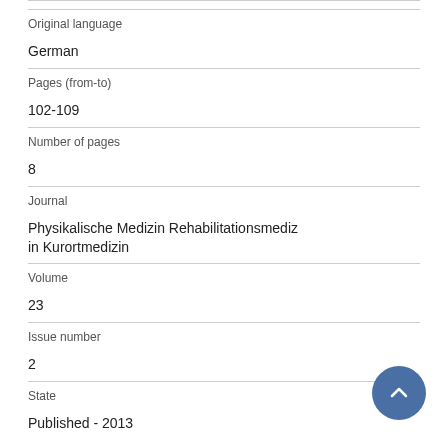Original language
German
Pages (from-to)
102-109
Number of pages
8
Journal
Physikalische Medizin Rehabilitationsmedizin Kurortmedizin
Volume
23
Issue number
2
State
Published - 2013